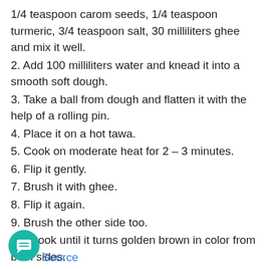1/4 teaspoon carom seeds, 1/4 teaspoon turmeric, 3/4 teaspoon salt, 30 milliliters ghee and mix it well.
2. Add 100 milliliters water and knead it into a smooth soft dough.
3. Take a ball from dough and flatten it with the help of a rolling pin.
4. Place it on a hot tawa.
5. Cook on moderate heat for 2 – 3 minutes.
6. Flip it gently.
7. Brush it with ghee.
8. Flip it again.
9. Brush the other side too.
10. Cook until it turns golden brown in color from both sides.
11. Serve.
[Figure (illustration): Teal circular chat icon with speech bubble symbol]
Source